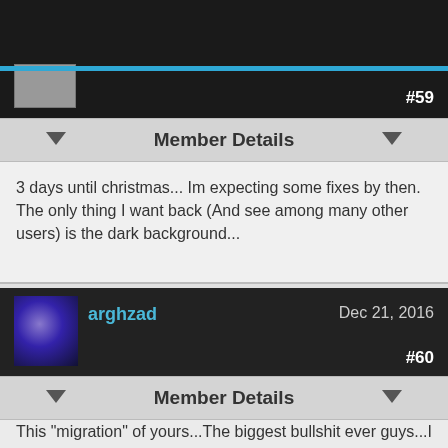#59
Member Details
3 days until christmas... Im expecting some fixes by then. The only thing I want back (And see among many other users) is the dark background...
arghzad  Dec 21, 2016  #60
Member Details
This "migration" of yours...The biggest bullshit ever guys...I want back the old mapster :c